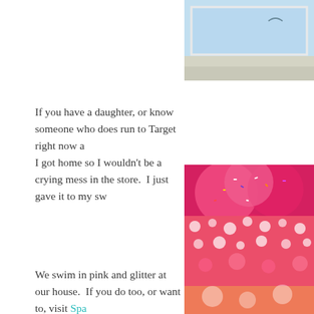[Figure (photo): Top right corner image showing a light blue sky or wall with a white frame, partially cropped]
If you have a daughter, or know someone who does run to Target right now a I got home so I wouldn't be a crying mess in the store.  I just gave it to my sw
[Figure (photo): Close-up photo of pink frosted cupcakes with sprinkles and the text 'PINkALicio' visible]
We swim in pink and glitter at our house.  If you do too, or want to, visit Spa your pink on!
[Figure (photo): Bottom right corner image showing a red and white floral/dot pattern fabric or paper]